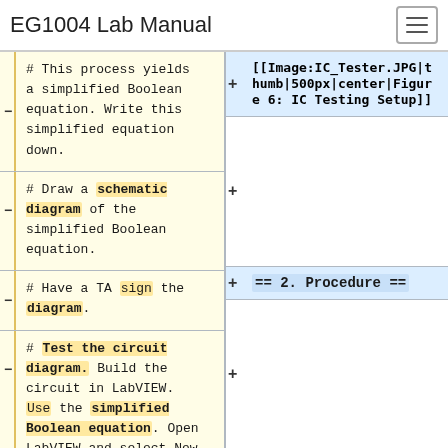EG1004 Lab Manual
# This process yields a simplified Boolean equation. Write this simplified equation down.
# Draw a schematic diagram of the simplified Boolean equation.
# Have a TA sign the diagram.
# Test the circuit diagram. Build the circuit in LabVIEW. Use the simplified Boolean equation. Open LabVIEW and select New VI. Pull down the
[[Image:IC_Tester.JPG|thumb|500px|center|Figure 6: IC Testing Setup]]
== 2. Procedure ==